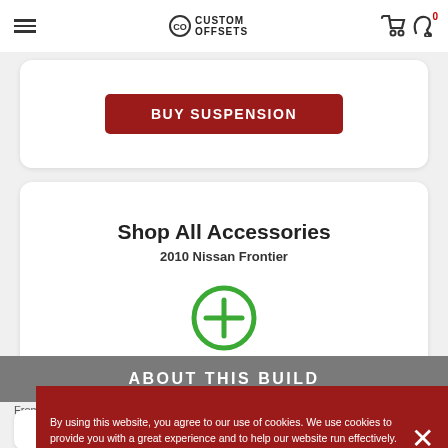Custom Offsets
[Figure (screenshot): BUY SUSPENSION red button]
Shop All Accessories
2010 Nissan Frontier
[Figure (illustration): Green circle with plus sign for adding accessories]
SH
By using this website, you agree to our use of cookies. We use cookies to provide you with a great experience and to help our website run effectively. Learn more
ABOUT THIS BUILD
From the Owner:
3 inch lift removed front mud flaps